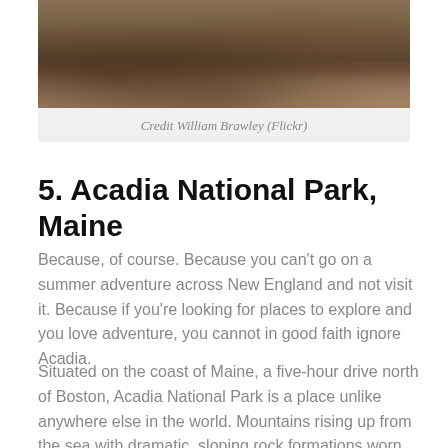[Figure (photo): Photograph of a rocky stream or river scene with stones and water, taken at Acadia National Park]
Credit William Brawley (Flickr)
5. Acadia National Park, Maine
Because, of course. Because you can’t go on a summer adventure across New England and not visit it. Because if you’re looking for places to explore and you love adventure, you cannot in good faith ignore Acadia.
Situated on the coast of Maine, a five-hour drive north of Boston, Acadia National Park is a place unlike anywhere else in the world. Mountains rising up from the sea with dramatic, sloping rock formations worn soft by years of oceans spray. Quaint little villages